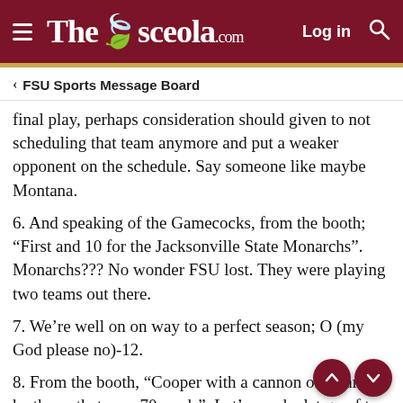The Osceola.com  Log in
FSU Sports Message Board
final play, perhaps consideration should given to not scheduling that team anymore and put a weaker opponent on the schedule. Say someone like maybe Montana.
6. And speaking of the Gamecocks, from the booth; “First and 10 for the Jacksonville State Monarchs”. Monarchs??? No wonder FSU lost. They were playing two teams out there.
7. We’re well on on way to a perfect season; O (my God please no)-12.
8. From the booth, “Cooper with a cannon of an arm, he threw that pass 70 yards”. Let’s see, he let go of the ball from the JSU 20 and it fell incomplete at the FSU 40,